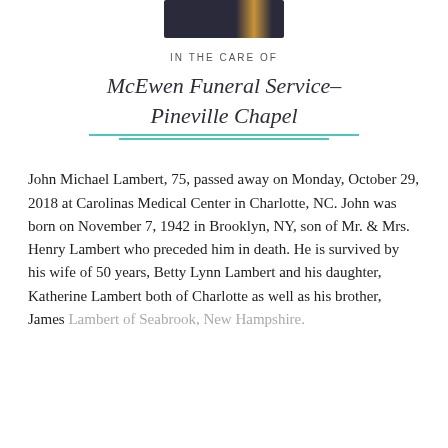[Figure (photo): Partial photograph of a person in dark clothing with a gold/yellow tie or accessory, cropped to show upper torso area.]
IN THE CARE OF
McEwen Funeral Service-Pineville Chapel
John Michael Lambert, 75, passed away on Monday, October 29, 2018 at Carolinas Medical Center in Charlotte, NC. John was born on November 7, 1942 in Brooklyn, NY, son of Mr. & Mrs. Henry Lambert who preceded him in death. He is survived by his wife of 50 years, Betty Lynn Lambert and his daughter, Katherine Lambert both of Charlotte as well as his brother, James Lambert of Seabrook, New Hampshire.